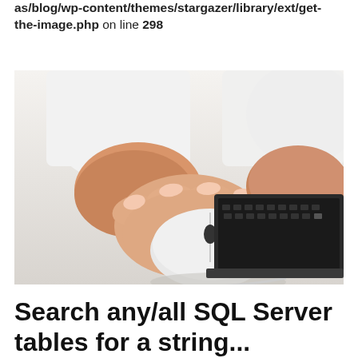as/blog/wp-content/themes/stargazer/library/ext/get-the-image.php on line 298
[Figure (photo): Close-up photo of a person's hands using a white computer mouse on a desk, with a laptop keyboard visible in the background. Person wearing a white long-sleeve shirt.]
Search any/all SQL Server tables for a string...